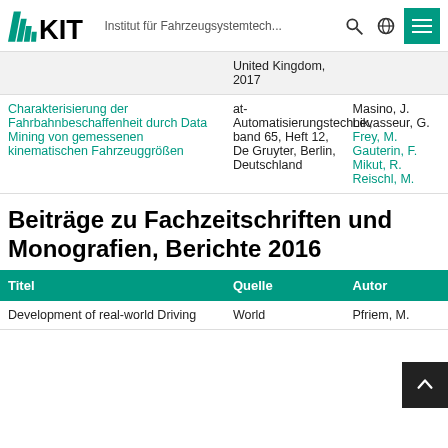KIT – Institut für Fahrzeugsystemtech...
| Titel | Quelle | Autor |
| --- | --- | --- |
| Charakterisierung der Fahrbahnbeschaffenheit durch Data Mining von gemessenen kinematischen Fahrzeuggrößen | at-Automatisierungstechnik, band 65, Heft 12, De Gruyter, Berlin, Deutschland | Masino, J. Levasseur, G. Frey, M. Gauterin, F. Mikut, R. Reischl, M. |
Beiträge zu Fachzeitschriften und Monografien, Berichte 2016
| Titel | Quelle | Autor |
| --- | --- | --- |
| Development of real-world Driving | World | Pfriem, M. |